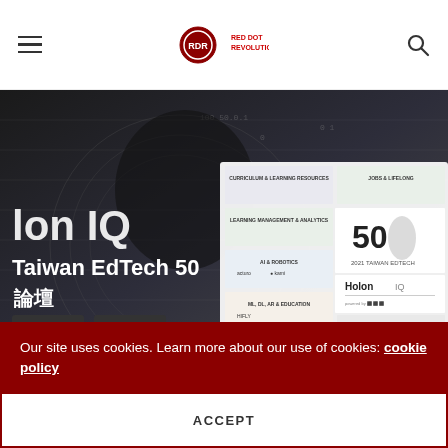Navigation bar with hamburger menu, Red Dot Revolutionist logo, and search icon
[Figure (screenshot): EdTech promotional banner showing 'Holon IQ Taiwan EdTech 50' forum event with AI/digital imagery background, Chinese text for '論壇' (forum), '情報分析' (intelligence analysis), '獲獎分享' (award sharing), '週一 16:00-17:00' (Monday 16:00-17:00), overlaid with a Holon IQ Taiwan EdTech 50 infographic card showing company logos and categories]
Our site uses cookies. Learn more about our use of cookies: cookie policy
ACCEPT